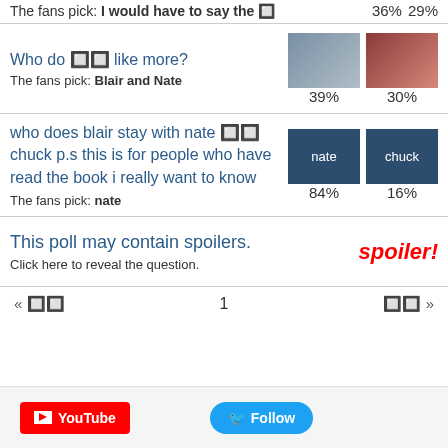The fans pick: I would have to say the 🔲  36%  29%
Who do 🔲🔲 like more?
The fans pick: Blair and Nate
39%  30%
who does blair stay with nate 🔲🔲 chuck p.s this is for people who have read the book i really want to know
The fans pick: nate
84%  16%
This poll may contain spoilers.
Click here to reveal the question.
spoiler!
« 🔲🔲  1  🔲🔲 »
YouTube  Follow